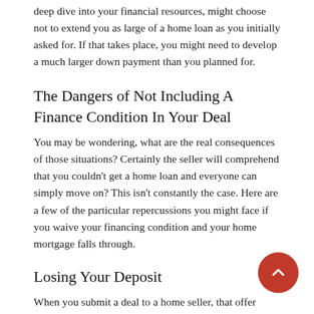deep dive into your financial resources, might choose not to extend you as large of a home loan as you initially asked for. If that takes place, you might need to develop a much larger down payment than you planned for.
The Dangers of Not Including A Finance Condition In Your Deal
You may be wondering, what are the real consequences of those situations? Certainly the seller will comprehend that you couldn't get a home loan and everyone can simply move on? This isn't constantly the case. Here are a few of the particular repercussions you might face if you waive your financing condition and your home mortgage falls through.
Losing Your Deposit
When you submit a deal to a home seller, that offer normally consists of a cash deposit, usually equal to one per cent of the purchase price. If you don't consist of a